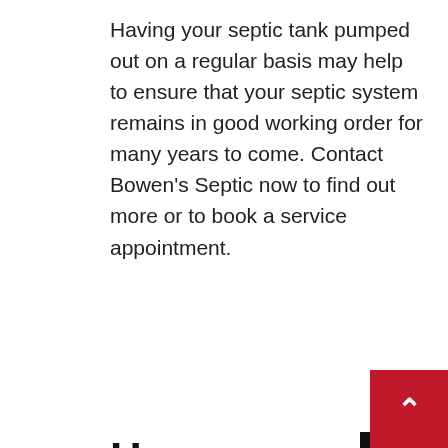Having your septic tank pumped out on a regular basis may help to ensure that your septic system remains in good working order for many years to come. Contact Bowen's Septic now to find out more or to book a service appointment.
H
Pu
Ho
tan
fre                                                                           it
is a
ho
em